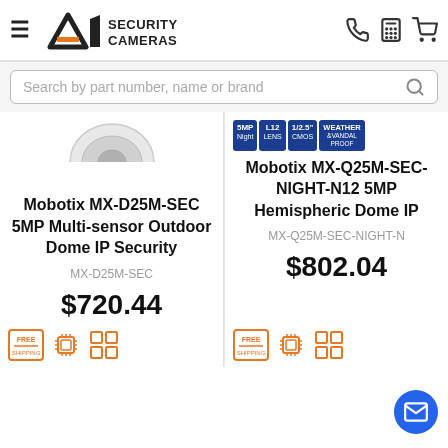A1 Security Cameras — Navigation header with logo, phone, calculator, and cart icons
Search by part number, name or brand
[Figure (photo): Partial view of a dome security camera (top portion visible)]
[Figure (infographic): Product badge row: 5MP Night, L12 LENS, 1/2.5" CMOS, WEATHER & VANDAL PROOF]
Mobotix MX-D25M-SEC 5MP Multi-sensor Outdoor Dome IP Security
MX-D25M-SEC
$720.44
Mobotix MX-Q25M-SEC-NIGHT-N12 5MP Hemispheric Dome IP
MX-Q25M-SEC-NIGHT-N
$802.04